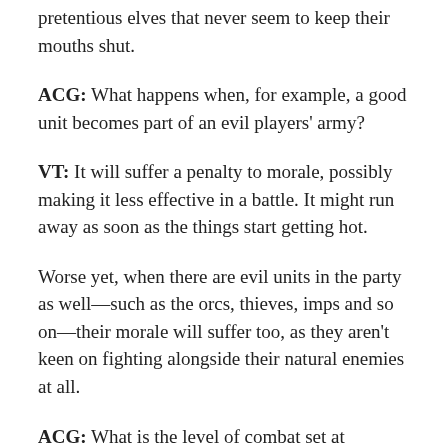pretentious elves that never seem to keep their mouths shut.
ACG: What happens when, for example, a good unit becomes part of an evil players' army?
VT: It will suffer a penalty to morale, possibly making it less effective in a battle. It might run away as soon as the things start getting hot.
Worse yet, when there are evil units in the party as well—such as the orcs, thieves, imps and so on—their morale will suffer too, as they aren't keen on fighting alongside their natural enemies at all.
ACG: What is the level of combat set at visually? Is it graphically brutal, do units just